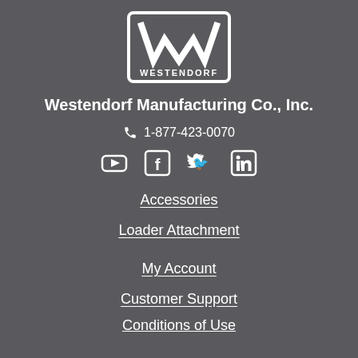[Figure (logo): Westendorf Manufacturing logo — white W icon in a rounded rectangle with WESTENDORF text below]
Westendorf Manufacturing Co., Inc.
1-877-423-0070
[Figure (infographic): Social media icons row: YouTube, Facebook, Twitter, LinkedIn]
Accessories
Loader Attachment
My Account
Customer Support
Conditions of Use